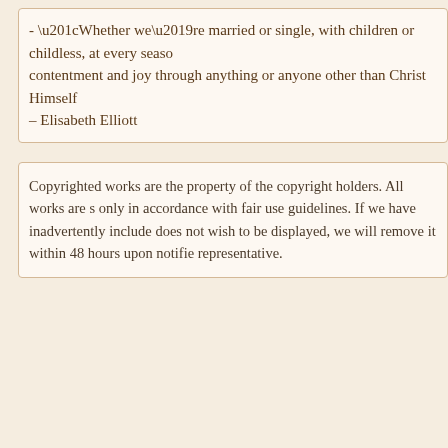- “Whether we’re married or single, with children or childless, at every seaso contentment and joy through anything or anyone other than Christ Himself – Elisabeth Elliott
Copyrighted works are the property of the copyright holders. All works are s only in accordance with fair use guidelines. If we have inadvertently include does not wish to be displayed, we will remove it within 48 hours upon notifi representative.